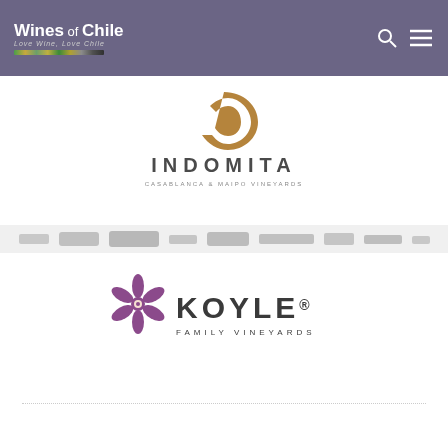Wines of Chile – Love Wine, Love Chile
[Figure (logo): Indomita winery logo – brown bird/C shape above text INDOMITA CASABLANCA & MAIPO VINEYARDS]
[Figure (logo): Grey horizontal band with multiple winery logos/icons in muted tones]
[Figure (logo): Koyle Family Vineyards logo – purple flower icon beside KOYLE text with FAMILY VINEYARDS subtitle]